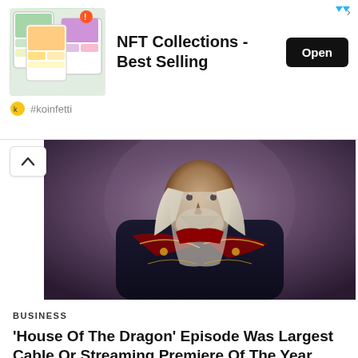[Figure (other): Advertisement banner for NFT Collections - Best Selling app, showing colorful app screenshot mockups with an Open button]
NFT Collections - Best Selling
#koinfetti
[Figure (photo): An older man with long white/silver hair and a beard wearing an ornate dark blue embroidered jacket with dragon motifs. This appears to be a fantasy TV show still, likely from House of the Dragon.]
BUSINESS
'House Of The Dragon' Episode Was Largest Cable Or Streaming Premiere Of The Year, Samba TV Says
Businesshala  -  August 23, 2022